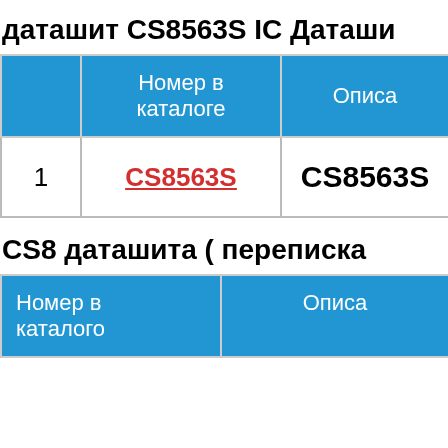даташит CS8563S IC Даташи
|  | Номер в каталоге | Описа |
| --- | --- | --- |
| 1 | CS8563S | CS8563S |
CS8 даташита ( переписка
| Номер в каталоге | Описа |
| --- | --- |